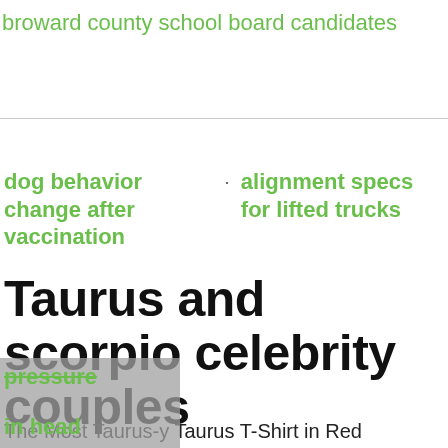broward county school board candidates
dog behavior change after vaccination
alignment specs for lifted trucks
Taurus and scorpio celebrity couples
The Most Taurus-y Taurus T-Shirt in Red cosmopolitan.com $25.00 SHOP NOW This cosmic duo certainly knows how to have a good
pressure
in head